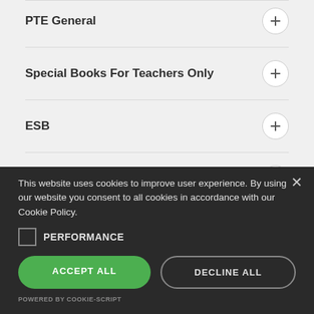PTE General
Special Books For Teachers Only
ESB
IELTS Academic
NOCN
LNR
Dictionaries
This website uses cookies to improve user experience. By using our website you consent to all cookies in accordance with our Cookie Policy.
PERFORMANCE
ACCEPT ALL
DECLINE ALL
POWERED BY COOKIE-SCRIPT